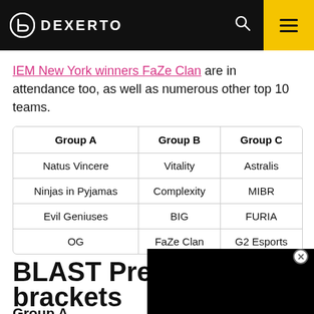DEXERTO
IEM New York winners FaZe Clan are in attendance too, as well as numerous other top 10 teams.
| Group A | Group B | Group C |
| --- | --- | --- |
| Natus Vincere | Vitality | Astralis |
| Ninjas in Pyjamas | Complexity | MIBR |
| Evil Geniuses | BIG | FURIA |
| OG | FaZe Clan | G2 Esports |
BLAST Premier brackets
Group A